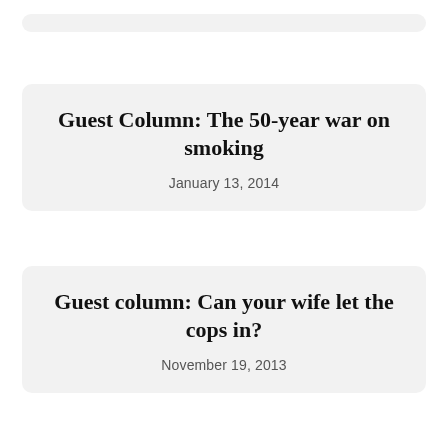Guest Column: The 50-year war on smoking
January 13, 2014
Guest column: Can your wife let the cops in?
November 19, 2013
Guest Column: Revive immigration